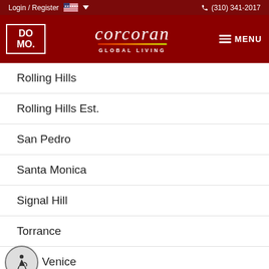Login / Register | (310) 341-2017
[Figure (logo): DOMO / Corcoran Global Living logo with red background, white DOMO box logo and Corcoran italic wordmark with GLOBAL LIVING text and rainbow underline]
Rolling Hills
Rolling Hills Est.
San Pedro
Santa Monica
Signal Hill
Torrance
Venice
Westchester